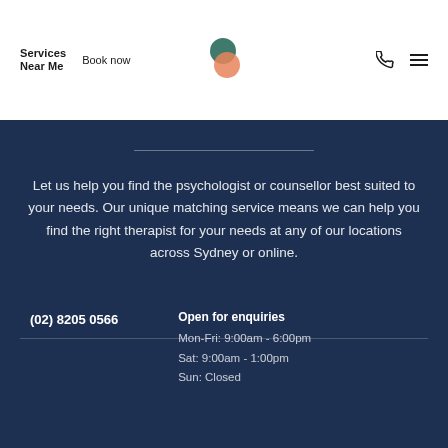Services Near Me  Book now
Let us help you find the psychologist or counsellor best suited to your needs. Our unique matching service means we can help you find the right therapist for your needs at any of our locations across Sydney or online.
(02) 8205 0566
Open for enquiries
Mon-Fri: 9:00am - 6:00pm
Sat: 9:00am - 1:00pm
Sun: Closed